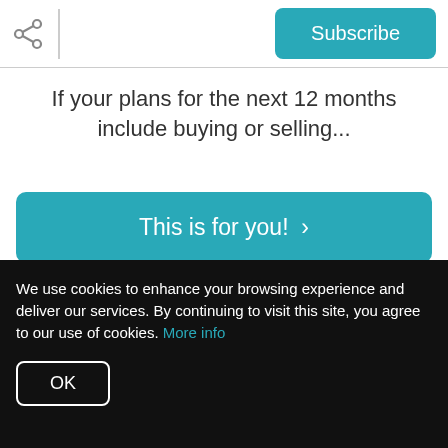Subscribe
If your plans for the next 12 months include buying or selling...
This is for you! >
TWO | Interest
We use cookies to enhance your browsing experience and deliver our services. By continuing to visit this site, you agree to our use of cookies. More info
OK